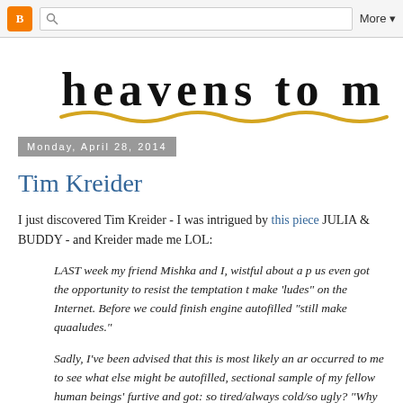Blogger navbar with logo, search, and More menu
[Figure (illustration): Handwritten 'heavens to m' text logo in black ink on white background, with a wavy golden/yellow underline]
Monday, April 28, 2014
Tim Kreider
I just discovered Tim Kreider - I was intrigued by this piece JULIA & BUDDY - and Kreider made me LOL:
LAST week my friend Mishka and I, wistful about a p us even got the opportunity to resist the temptation t make 'ludes" on the Internet. Before we could finish engine autofilled "still make quaaludes."
Sadly, I've been advised that this is most likely an ar occurred to me to see what else might be autofilled, sectional sample of my fellow human beings' furtive and got: so tired/always cold/so ugly? "Why does":